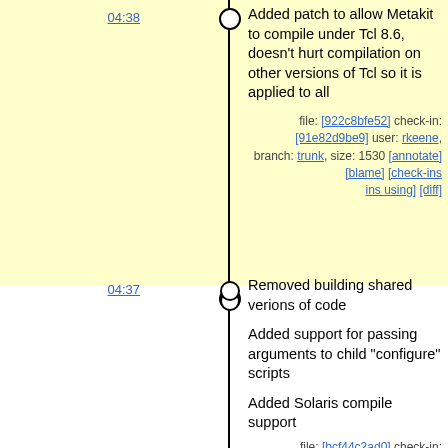04:38 — Added patch to allow Metakit to compile under Tcl 8.6, doesn't hurt compilation on other versions of Tcl so it is applied to all. file: [922c8bfe52] check-in: [91e82d9be9] user: rkeene, branch: trunk, size: 1530 [annotate] [blame] [check-ins using] [diff]
04:37 — Removed building shared verions of code. Added support for passing arguments to child "configure" scripts. Added Solaris compile support. file: [bcf44c2ad0] check-in: [8d94c2989e] user: rkeene, branch: trunk, size: 1078 [annotate] [blame] [check-ins using] [diff]
04:37 — Updated to build shared objects of Mk4tcl and Tclvfs. Added memchan package (needed for tclvfs). file: [4b3c985883] check-in: [a66d18a60b] user: rkeene, branch: trunk, size: 1430 [annotate] [blame] [check-ins using] [diff]
04:37 — Added kitcreator